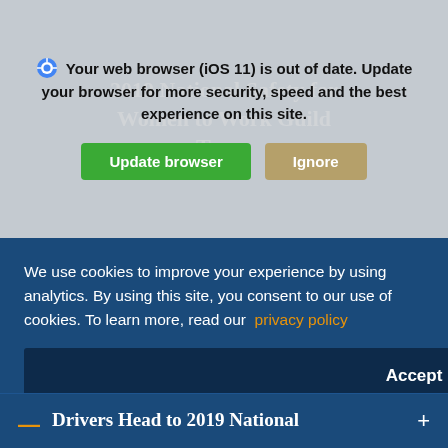[Figure (screenshot): Browser update notification banner overlaid on a website. Shows a browser icon, text 'Your web browser (iOS 11) is out of date. Update your browser for more security, speed and the best experience on this site.' with green 'Update browser' and tan 'Ignore' buttons.]
South Dakota Trucking Association Awards Wade Wagemann and Rick
We use cookies to improve your experience by using analytics. By using this site, you consent to our use of cookies. To learn more, read our privacy policy
Accept
Drivers Head to 2019 National